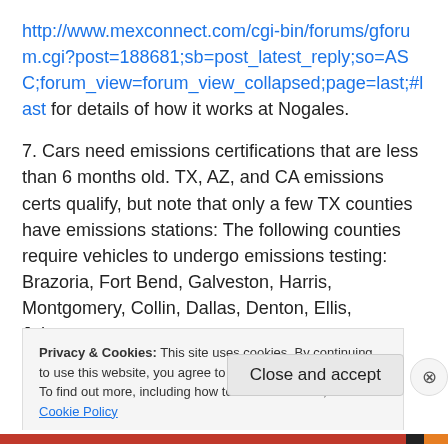http://www.mexconnect.com/cgi-bin/forums/gforum.cgi?post=188681;sb=post_latest_reply;so=ASC;forum_view=forum_view_collapsed;page=last;#last for details of how it works at Nogales.
7. Cars need emissions certifications that are less than 6 months old. TX, AZ, and CA emissions certs qualify, but note that only a few TX counties have emissions stations: The following counties require vehicles to undergo emissions testing: Brazoria, Fort Bend, Galveston, Harris, Montgomery, Collin, Dallas, Denton, Ellis, Johnson,
Privacy & Cookies: This site uses cookies. By continuing to use this website, you agree to their use.
To find out more, including how to control cookies, see here: Cookie Policy